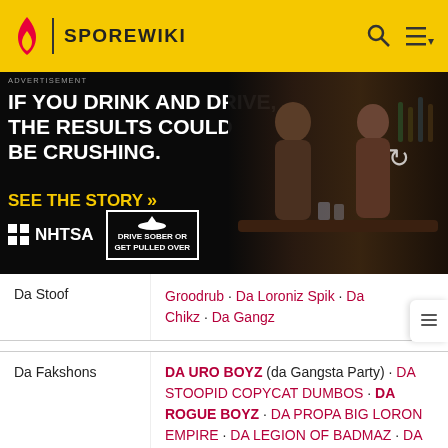SPOREWIKI
[Figure (infographic): NHTSA anti-drunk driving advertisement. Text reads: ADVERTISEMENT. IF YOU DRINK AND DRIVE, THE RESULTS COULD BE CRUSHING. SEE THE STORY >>. NHTSA logo. DRIVE SOBER OR GET PULLED OVER. Dark photo of two men at a bar.]
| Da Stoof | Groodrub · Da Loroniz Spik · Da Chikz · Da Gangz |
| Da Fakshons | DA URO BOYZ (da Gangsta Party) · DA STOOPID COPYCAT DUMBOS · DA ROGUE BOYZ · DA PROPA BIG LORON EMPIRE · DA LEGION OF BADMAZ · DA QUADRANT DOODS · DA MIRUS BOYZ · DA CHOSEN LORONZ (Ref'kolar) |